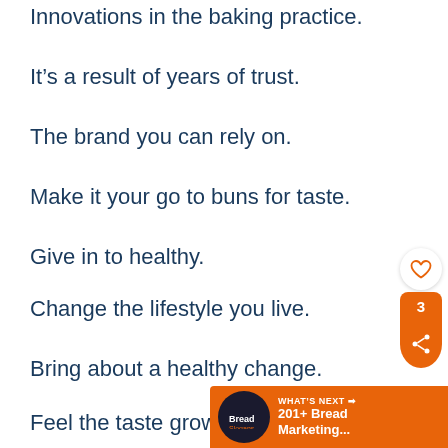Innovations in the baking practice.
It’s a result of years of trust.
The brand you can rely on.
Make it your go to buns for taste.
Give in to healthy.
Change the lifestyle you live.
Bring about a healthy change.
Feel the taste grow in you.